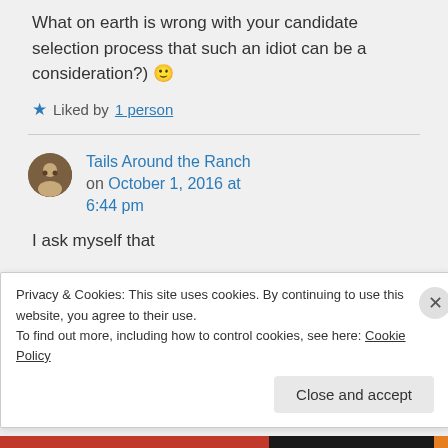What on earth is wrong with your candidate selection process that such an idiot can be a consideration?) 🙂
★ Liked by 1 person
Tails Around the Ranch on October 1, 2016 at 6:44 pm
I ask myself that
Privacy & Cookies: This site uses cookies. By continuing to use this website, you agree to their use. To find out more, including how to control cookies, see here: Cookie Policy